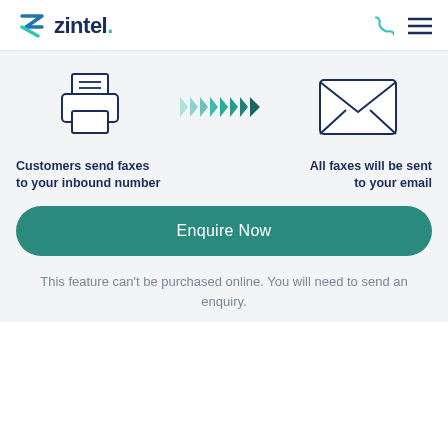zintel.
[Figure (infographic): Infographic showing fax-to-email flow: printer icon on the left, a row of arrow chevrons in the middle (light teal to dark teal gradient), and an envelope icon on the right.]
Customers send faxes to your inbound number
All faxes will be sent to your email
Enquire Now
This feature can't be purchased online. You will need to send an enquiry.